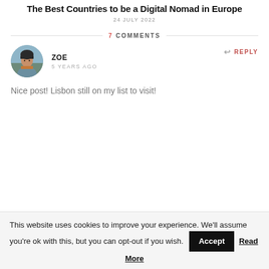The Best Countries to be a Digital Nomad in Europe
24 JULY 2022
7 COMMENTS
ZOE
5 YEARS AGO
Nice post! Lisbon still on my list to visit!
This website uses cookies to improve your experience. We'll assume you're ok with this, but you can opt-out if you wish. Accept Read More